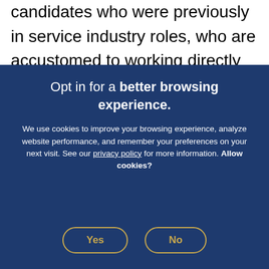candidates who were previously in service industry roles, who are accustomed to working directly with both satisfied and unsatisfied customers
Opt in for a better browsing experience.
We use cookies to improve your browsing experience, analyze website performance, and remember your preferences on your next visit. See our privacy policy for more information. Allow cookies?
Yes
No